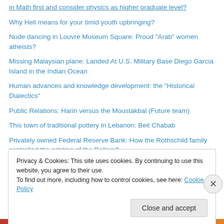in Math first and consider physics as higher graduate level?
Why Hell means for your timid youth upbringing?
Nude dancing in Louvre Museum Square: Proud "Arab" women atheists?
Missing Malaysian plane: Landed At U.S. Military Base Diego Garcia Island in the Indian Ocean
Human advances and knowledge development: the "Historical Dialectics"
Public Relations: Hariri versus the Moustakbal (Future team)
This town of traditional pottery in Lebanon: Beit Chabab
Privately owned Federal Reserve Bank: How the Rothschild family controlled the printing of the Dollars?
Privacy & Cookies: This site uses cookies. By continuing to use this website, you agree to their use. To find out more, including how to control cookies, see here: Cookie Policy
Close and accept